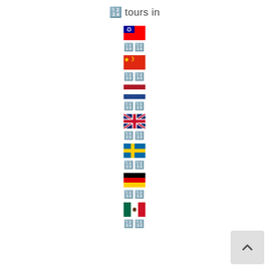🔢 tours in
[Figure (illustration): Taiwan flag emoji]
🔢🔢
[Figure (illustration): China flag emoji]
🔢🔢
[Figure (illustration): Netherlands flag emoji]
🔢🔢
[Figure (illustration): UK flag emoji]
🔢🔢
[Figure (illustration): Sweden flag emoji]
🔢🔢
[Figure (illustration): Germany flag emoji]
🔢🔢
[Figure (illustration): Mexico flag emoji]
🔢🔢